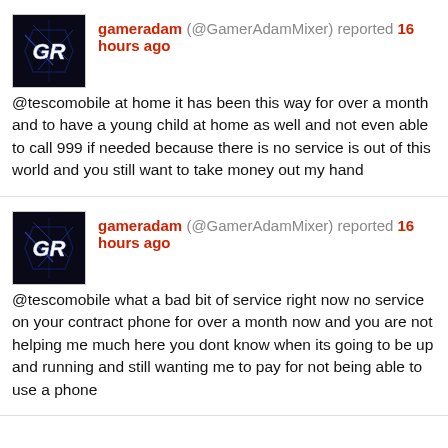gameradam (@GamerAdamMixer) reported 16 hours ago @tescomobile at home it has been this way for over a month and to have a young child at home as well and not even able to call 999 if needed because there is no service is out of this world and you still want to take money out my hand
gameradam (@GamerAdamMixer) reported 16 hours ago @tescomobile what a bad bit of service right now no service on your contract phone for over a month now and you are not helping me much here you dont know when its going to be up and running and still wanting me to pay for not being able to use a phone